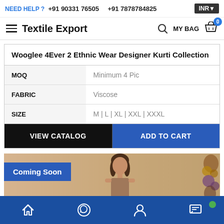NEED HELP ? +91 90331 76505  +91 7878784825  INR
Textile Export
MY BAG 0
|  |  |
| --- | --- |
| Wooglee 4Ever 2 Ethnic Wear Designer Kurti Collection |  |
| MOQ | Minimum 4 Pic |
| FABRIC | Viscose |
| SIZE | M | L | XL | XXL | XXXL |
VIEW CATALOG
ADD TO CART
Coming Soon
[Figure (photo): A model wearing ethnic wear kurti, Coming Soon banner overlay, decorative flowers on right side]
Bottom navigation bar with home, WhatsApp, user/account, and chat icons